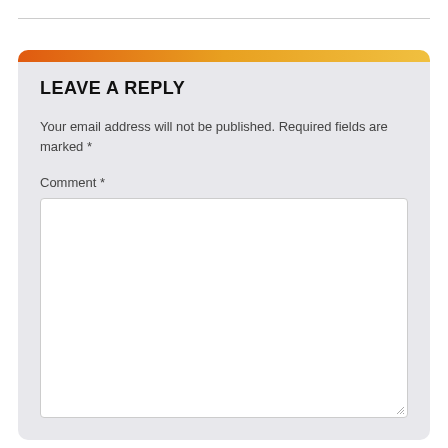LEAVE A REPLY
Your email address will not be published. Required fields are marked *
Comment *
[Figure (other): Empty comment text area input box with white background and resize handle in bottom-right corner]